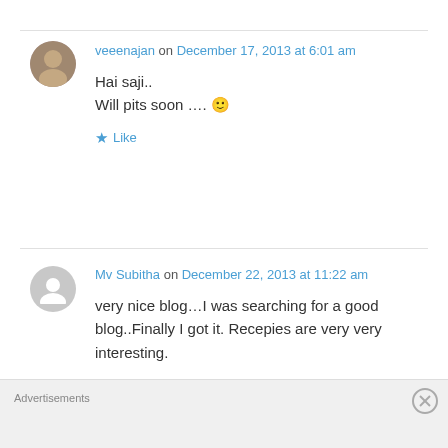veeenajan on December 17, 2013 at 6:01 am
Hai saji..
Will pits soon ….
Like
Mv Subitha on December 22, 2013 at 11:22 am
very nice blog…I was searching for a good blog..Finally I got it. Recepies are very very interesting.
Advertisements